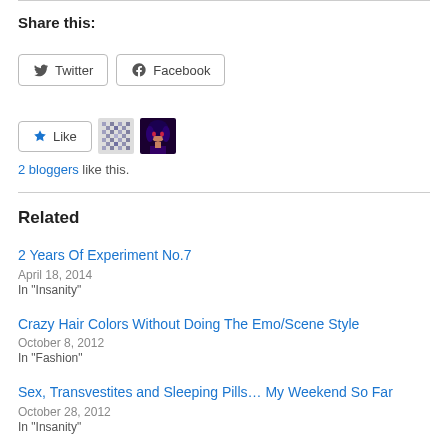Share this:
[Figure (other): Twitter and Facebook share buttons]
[Figure (other): Like button with 2 blogger avatars]
2 bloggers like this.
Related
2 Years Of Experiment No.7
April 18, 2014
In "Insanity"
Crazy Hair Colors Without Doing The Emo/Scene Style
October 8, 2012
In "Fashion"
Sex, Transvestites and Sleeping Pills… My Weekend So Far
October 28, 2012
In "Insanity"